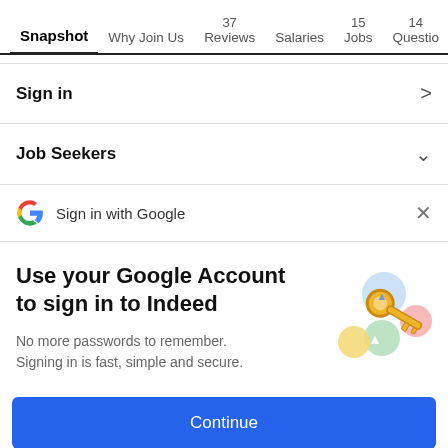Snapshot | Why Join Us | 37 Reviews | Salaries | 15 Jobs | 14 Questio >
Sign in >
Job Seekers v
G Sign in with Google  X
Use your Google Account to sign in to Indeed
No more passwords to remember. Signing in is fast, simple and secure.
[Figure (illustration): Colorful illustration of a gold key with Google-colored circular shapes around it]
Continue